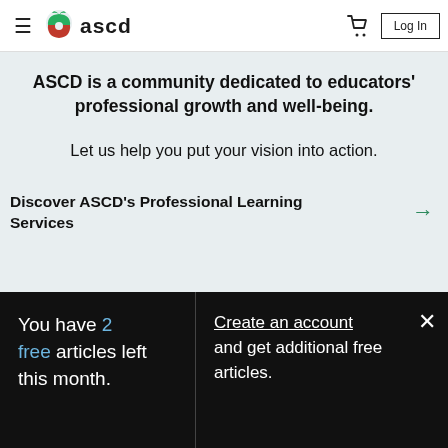≡  ascd   🛒  Log In
ASCD is a community dedicated to educators' professional growth and well-being.
Let us help you put your vision into action.
Discover ASCD's Professional Learning Services →
You have 2 free articles left this month.
Create an account and get additional free articles.